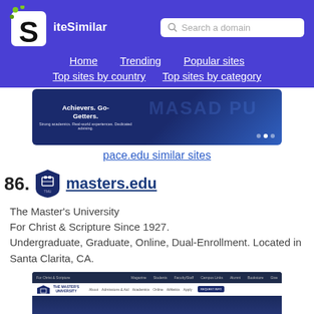[Figure (screenshot): SiteSimilar website header with logo and search bar]
Home  Trending  Popular sites  Top sites by country  Top sites by category
[Figure (screenshot): Screenshot of pace.edu website showing 'Achievers. Go-Getters.' text]
pace.edu similar sites
86.  masters.edu
The Master's University
For Christ & Scripture Since 1927.
Undergraduate, Graduate, Online, Dual-Enrollment. Located in Santa Clarita, CA.
[Figure (screenshot): Screenshot of masters.edu website showing The Master's University navigation and hero image]